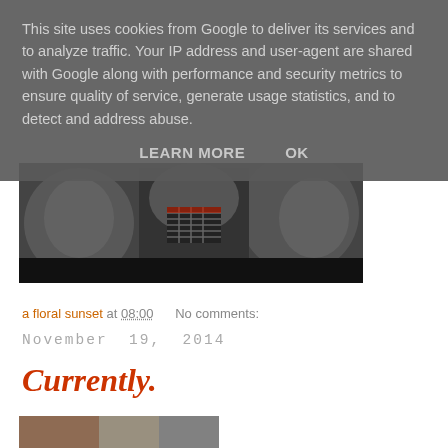This site uses cookies from Google to deliver its services and to analyze traffic. Your IP address and user-agent are shared with Google along with performance and security metrics to ensure quality of service, generate usage statistics, and to detect and address abuse.
LEARN MORE    OK
[Figure (photo): Black and white photograph of people wearing protective masks/helmets, partially visible]
a floral sunset at 08:00    No comments:
November  19,  2014
Currently.
[Figure (photo): Partial bottom image, cropped, color photo]